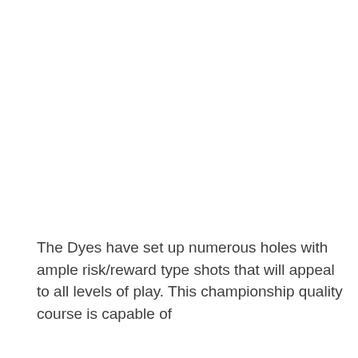The Dyes have set up numerous holes with ample risk/reward type shots that will appeal to all levels of play. This championship quality course is capable of